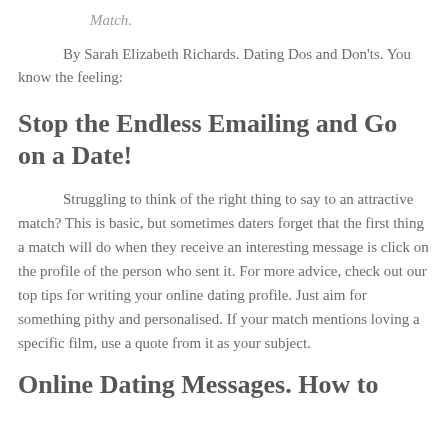Match.
By Sarah Elizabeth Richards. Dating Dos and Don'ts. You know the feeling:
Stop the Endless Emailing and Go on a Date!
Struggling to think of the right thing to say to an attractive match? This is basic, but sometimes daters forget that the first thing a match will do when they receive an interesting message is click on the profile of the person who sent it. For more advice, check out our top tips for writing your online dating profile. Just aim for something pithy and personalised. If your match mentions loving a specific film, use a quote from it as your subject.
Online Dating Messages. How to